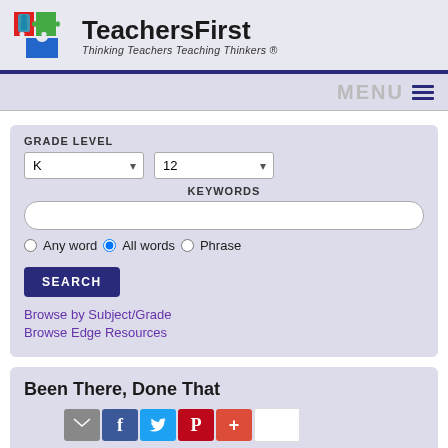[Figure (logo): TeachersFirst logo with puzzle pieces and text 'Thinking Teachers Teaching Thinkers ®']
MENU ≡
GRADE LEVEL
K | 12 dropdowns, KEYWORDS search input, Any word / All words / Phrase radio buttons, SEARCH button
Browse by Subject/Grade
Browse Edge Resources
Been There, Done That
TeachersFirst's Time Tested Tech Tips from the Trenches to Help Technology-Based Lessons Run Smoothly